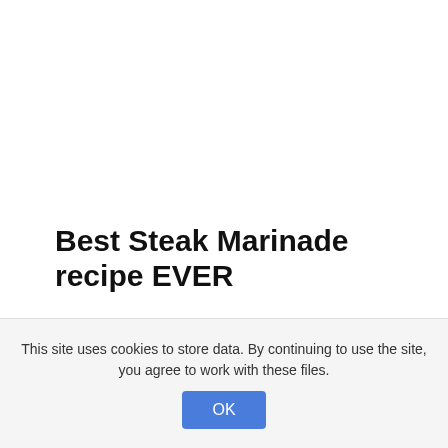Best Steak Marinade recipe EVER
This site uses cookies to store data. By continuing to use the site, you agree to work with these files.